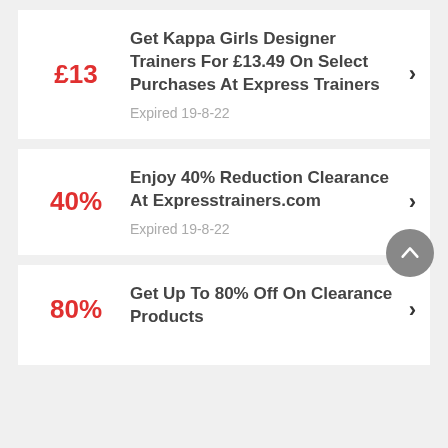£13 — Get Kappa Girls Designer Trainers For £13.49 On Select Purchases At Express Trainers — Expired 19-8-22
40% — Enjoy 40% Reduction Clearance At Expresstrainers.com — Expired 19-8-22
80% — Get Up To 80% Off On Clearance Products